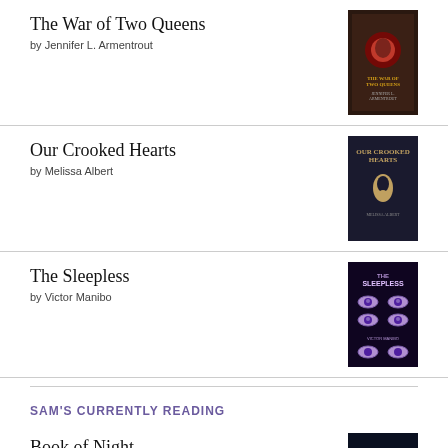The War of Two Queens by Jennifer L. Armentrout
Our Crooked Hearts by Melissa Albert
The Sleepless by Victor Manibo
SAM'S CURRENTLY READING
Book of Night by Holly Black